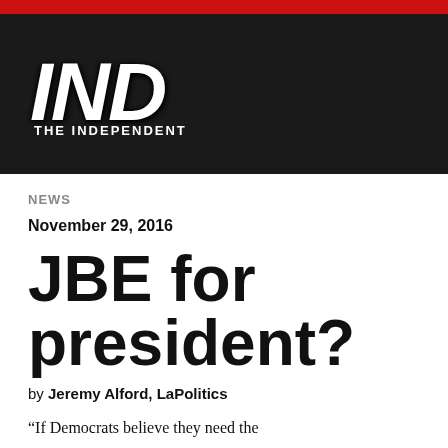[Figure (logo): The Independent newspaper logo — 'IND' in large bold italic white letters with 'THE INDEPENDENT' subtitle, on a dark background with red bar at top]
NEWS
November 29, 2016
JBE for president?
by Jeremy Alford, LaPolitics
“If Democrats believe they need the